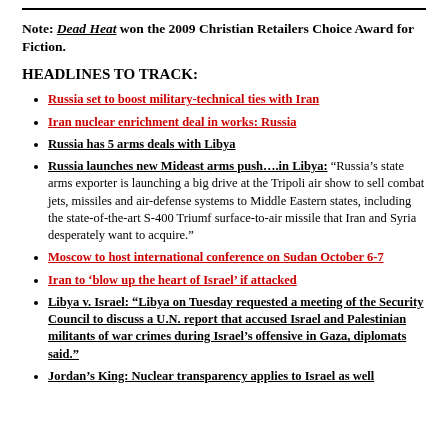Note: Dead Heat won the 2009 Christian Retailers Choice Award for Fiction.
HEADLINES TO TRACK:
Russia set to boost military-technical ties with Iran
Iran nuclear enrichment deal in works: Russia
Russia has 5 arms deals with Libya
Russia launches new Mideast arms push….in Libya: "Russia's state arms exporter is launching a big drive at the Tripoli air show to sell combat jets, missiles and air-defense systems to Middle Eastern states, including the state-of-the-art S-400 Triumf surface-to-air missile that Iran and Syria desperately want to acquire."
Moscow to host international conference on Sudan October 6-7
Iran to ‘blow up the heart of Israel’ if attacked
Libya v. Israel: “Libya on Tuesday requested a meeting of the Security Council to discuss a U.N. report that accused Israel and Palestinian militants of war crimes during Israel’s offensive in Gaza, diplomats said.”
Jordan’s King: Nuclear transparency applies to Israel as well